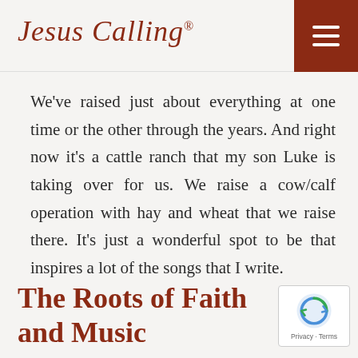Jesus Calling®
We've raised just about everything at one time or the other through the years. And right now it's a cattle ranch that my son Luke is taking over for us. We raise a cow/calf operation with hay and wheat that we raise there. It's just a wonderful spot to be that inspires a lot of the songs that I write.
The Roots of Faith and Music